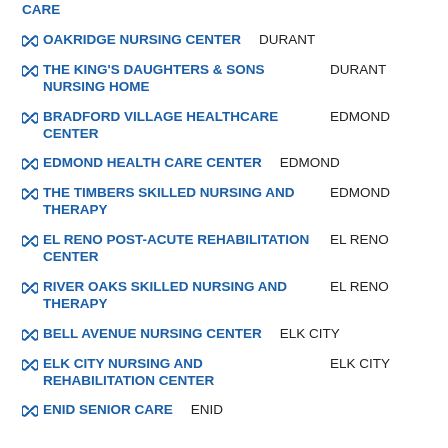CARE
OAKRIDGE NURSING CENTER | DURANT
THE KING'S DAUGHTERS & SONS NURSING HOME | DURANT
BRADFORD VILLAGE HEALTHCARE CENTER | EDMOND
EDMOND HEALTH CARE CENTER | EDMOND
THE TIMBERS SKILLED NURSING AND THERAPY | EDMOND
EL RENO POST-ACUTE REHABILITATION CENTER | EL RENO
RIVER OAKS SKILLED NURSING AND THERAPY | EL RENO
BELL AVENUE NURSING CENTER | ELK CITY
ELK CITY NURSING AND REHABILITATION CENTER | ELK CITY
ENID SENIOR CARE | ENID